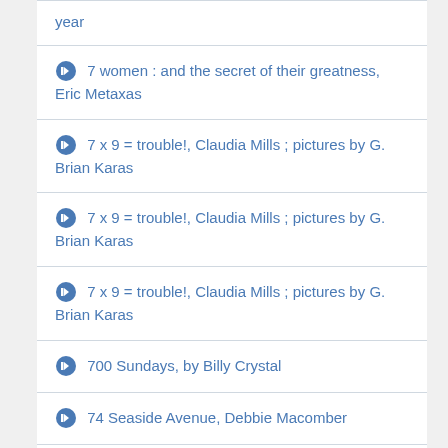year
7 women : and the secret of their greatness, Eric Metaxas
7 x 9 = trouble!, Claudia Mills ; pictures by G. Brian Karas
7 x 9 = trouble!, Claudia Mills ; pictures by G. Brian Karas
7 x 9 = trouble!, Claudia Mills ; pictures by G. Brian Karas
700 Sundays, by Billy Crystal
74 Seaside Avenue, Debbie Macomber
74 Seaside Avenue, Debbie Macomber
747, Lady Antebellum